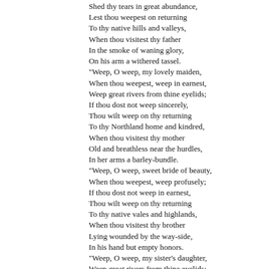Shed thy tears in great abundance,
Lest thou weepest on returning
To thy native hills and valleys,
When thou visitest thy father
In the smoke of waning glory,
On his arm a withered tassel.
"Weep, O weep, my lovely maiden,
When thou weepest, weep in earnest,
Weep great rivers from thine eyelids;
If thou dost not weep sincerely,
Thou wilt weep on thy returning
To thy Northland home and kindred,
When thou visitest thy mother
Old and breathless near the hurdles,
In her arms a barley-bundle.
"Weep, O weep, sweet bride of beauty,
When thou weepest, weep profusely;
If thou dost not weep in earnest,
Thou wilt weep on thy returning
To thy native vales and highlands,
When thou visitest thy brother
Lying wounded by the way-side,
In his hand but empty honors.
"Weep, O weep, my sister's daughter,
Weep great rivers from thine eyelids;